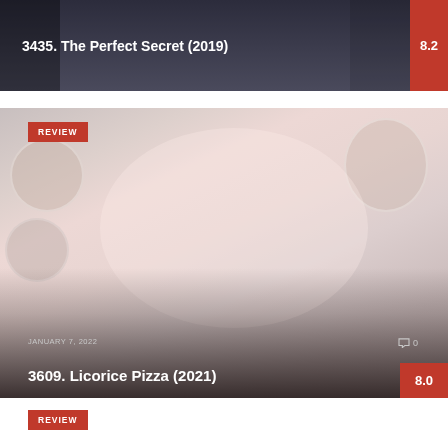[Figure (photo): Movie card for The Perfect Secret (2019) with dark background image and red rating badge showing 8.2]
3435. The Perfect Secret (2019)
[Figure (photo): Movie card for Licorice Pizza (2021) with illustrated/painted background showing a smiling woman, REVIEW badge, date, comment count, and red rating badge showing 8.0]
JANUARY 7, 2022
3609. Licorice Pizza (2021)
REVIEW